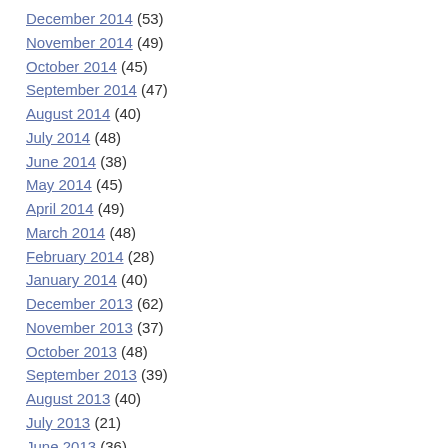December 2014 (53)
November 2014 (49)
October 2014 (45)
September 2014 (47)
August 2014 (40)
July 2014 (48)
June 2014 (38)
May 2014 (45)
April 2014 (49)
March 2014 (48)
February 2014 (28)
January 2014 (40)
December 2013 (62)
November 2013 (37)
October 2013 (48)
September 2013 (39)
August 2013 (40)
July 2013 (21)
June 2013 (36)